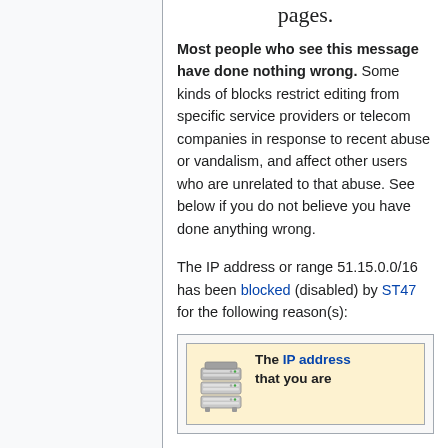pages.
Most people who see this message have done nothing wrong. Some kinds of blocks restrict editing from specific service providers or telecom companies in response to recent abuse or vandalism, and affect other users who are unrelated to that abuse. See below if you do not believe you have done anything wrong.
The IP address or range 51.15.0.0/16 has been blocked (disabled) by ST47 for the following reason(s):
[Figure (infographic): Notice box with server icon and text 'The IP address that you are']